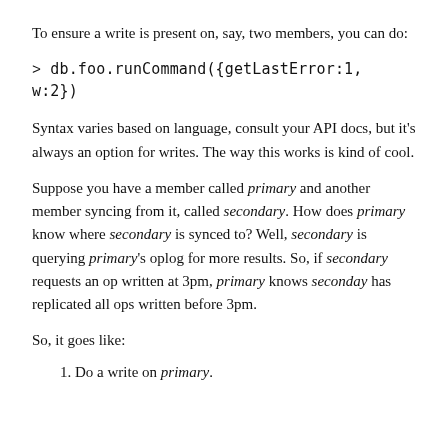To ensure a write is present on, say, two members, you can do:
> db.foo.runCommand({getLastError:1, w:2})
Syntax varies based on language, consult your API docs, but it's always an option for writes. The way this works is kind of cool.
Suppose you have a member called primary and another member syncing from it, called secondary. How does primary know where secondary is synced to? Well, secondary is querying primary's oplog for more results. So, if secondary requests an op written at 3pm, primary knows seconday has replicated all ops written before 3pm.
So, it goes like:
1. Do a write on primary.